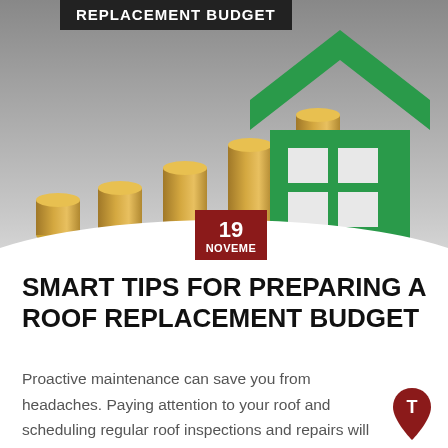[Figure (photo): Hero image showing stacked coins in ascending height order against a gray background, with a green house icon on the right. A dark banner at top reads 'REPLACEMENT BUDGET'. A red date badge shows '19 NOVEME' (November).]
SMART TIPS FOR PREPARING A ROOF REPLACEMENT BUDGET
Proactive maintenance can save you from headaches. Paying attention to your roof and scheduling regular roof inspections and repairs will